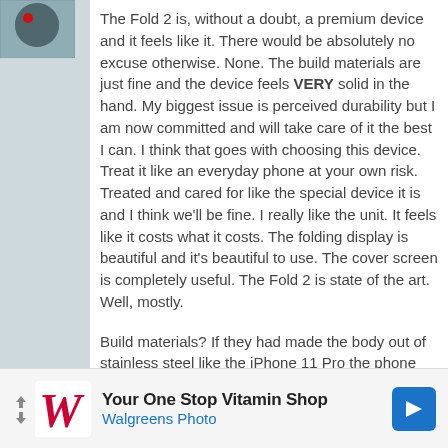The Fold 2 is, without a doubt, a premium device and it feels like it. There would be absolutely no excuse otherwise. None. The build materials are just fine and the device feels VERY solid in the hand. My biggest issue is perceived durability but I am now committed and will take care of it the best I can. I think that goes with choosing this device. Treat it like an everyday phone at your own risk. Treated and cared for like the special device it is and I think we'll be fine. I really like the unit. It feels like it costs what it costs. The folding display is beautiful and it's beautiful to use. The cover screen is completely useful. The Fold 2 is state of the art. Well, mostly.
Build materials? If they had made the body out of stainless steel like the iPhone 11 Pro the phone might have been stronger but it would have been prohibitively heavy. If they used titanium the phone would have been even more expensive. Carbon...
[Figure (other): Walgreens advertisement banner: Your One Stop Vitamin Shop - Walgreens Photo, with Walgreens W logo and blue navigation arrow icon]